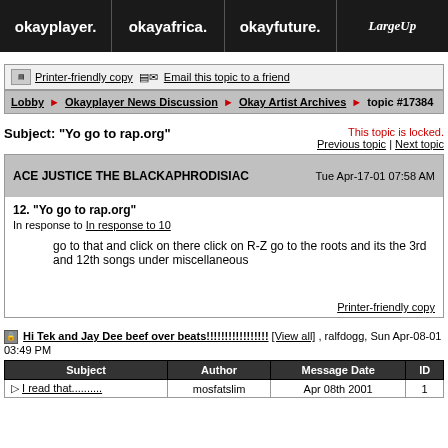okayplayer. | okayafrica. | okayfuture. | LargeUp
Printer-friendly copy | Email this topic to a friend
Lobby ► Okayplayer News Discussion ► Okay Artist Archives ► topic #17384
Subject: "Yo go to rap.org" | This topic is locked. | Previous topic | Next topic
ACE JUSTICE THE BLACKAPHRODISIAC | Tue Apr-17-01 07:58 AM
12. "Yo go to rap.org"
In response to In response to 10

go to that and click on there click on R-Z go to the roots and its the 3rd and 12th songs under miscellaneous

Printer-friendly copy
Hi Tek and Jay Dee beef over beats!!!!!!!!!!!!!!!!! [View all] , ralfdogg, Sun Apr-08-01 03:49 PM
| Subject | Author | Message Date | ID |
| --- | --- | --- | --- |
| I read that.......... | mosfatslim | Apr 08th 2001 | 1 |